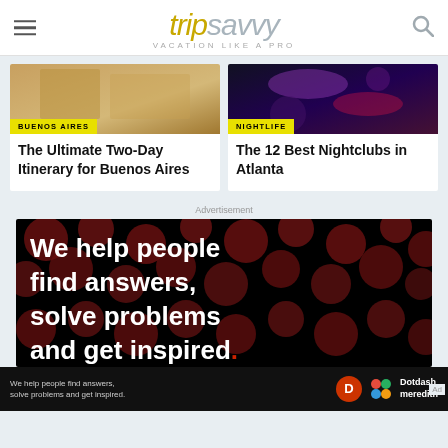tripsavvy VACATION LIKE A PRO
[Figure (screenshot): Card image for Buenos Aires article showing warm golden tones]
BUENOS AIRES
The Ultimate Two-Day Itinerary for Buenos Aires
[Figure (screenshot): Card image for Nightlife article showing dark nightclub scene with purple/red lighting]
NIGHTLIFE
The 12 Best Nightclubs in Atlanta
Advertisement
[Figure (photo): Advertisement: black background with dark red circles pattern, white bold text reading 'We help people find answers, solve problems and get inspired.' with red period]
We help people find answers, solve problems and get inspired.